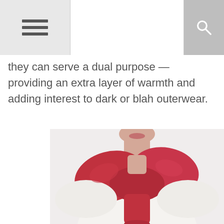[hamburger menu icon] [search icon]
they can serve a dual purpose — providing an extra layer of warmth and adding interest to dark or blah outerwear.
[Figure (photo): A woman wearing a white long-sleeve top with a large red scarf wrapped around her neck and shoulders, shown from neck to waist against a light background.]